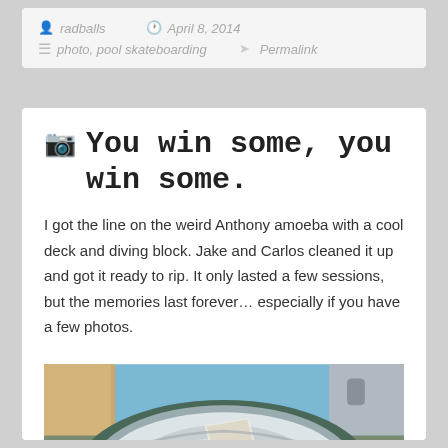radballs  April 8, 2014  photo, pool skateboarding  Permalink
You win some, you win some.
I got the line on the weird Anthony amoeba with a cool deck and diving block. Jake and Carlos cleaned it up and got it ready to rip. It only lasted a few sessions, but the memories last forever… especially if you have a few photos.
[Figure (photo): Aerial/fisheye view of an empty concrete skateboard pool, viewed from above. The pool is round/amoeba-shaped with curved white walls, visible crack in the bottom. Surrounding environment includes building walls and blue sky.]